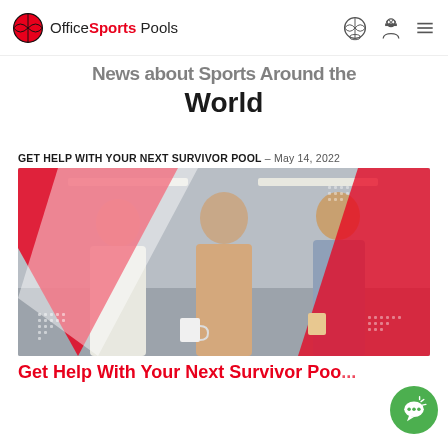OfficeSports Pools
World
GET HELP WITH YOUR NEXT SURVIVOR POOL – May 14, 2022
[Figure (photo): Three office workers smiling and talking, with red diagonal graphic overlays and dot patterns]
Get Help With Your Next Survivor Poo...